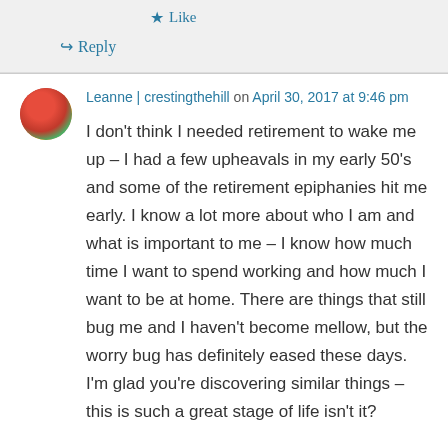Like
Reply
Leanne | crestingthehill on April 30, 2017 at 9:46 pm
I don't think I needed retirement to wake me up – I had a few upheavals in my early 50's and some of the retirement epiphanies hit me early. I know a lot more about who I am and what is important to me – I know how much time I want to spend working and how much I want to be at home. There are things that still bug me and I haven't become mellow, but the worry bug has definitely eased these days. I'm glad you're discovering similar things – this is such a great stage of life isn't it?